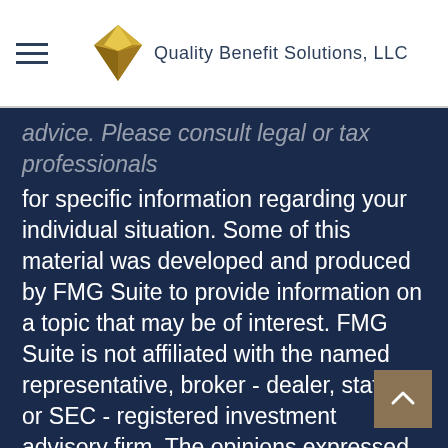Quality Benefit Solutions, LLC
advice. Please consult legal or tax professionals for specific information regarding your individual situation. Some of this material was developed and produced by FMG Suite to provide information on a topic that may be of interest. FMG Suite is not affiliated with the named representative, broker - dealer, state - or SEC - registered investment advisory firm. The opinions expressed and material provided are for general information, and should not be considered a solicitation for the purchase or sale of any security.
We take protecting your data and privacy very seriously. As of January 1, 2020 the California Consumer Privacy Act (CCPA) suggests the following link as an extra measure to safeguard